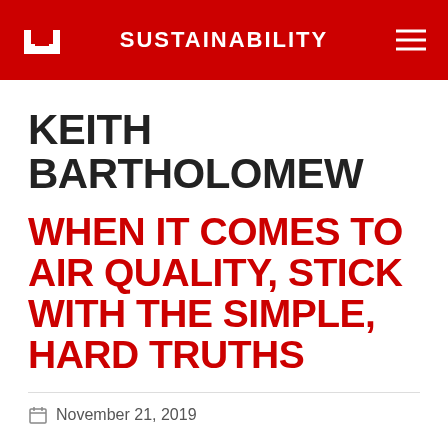SUSTAINABILITY
KEITH BARTHOLOMEW
WHEN IT COMES TO AIR QUALITY, STICK WITH THE SIMPLE, HARD TRUTHS
November 21, 2019